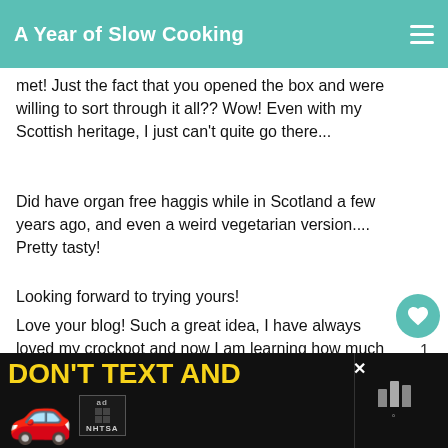A Year of Slow Cooking
met! Just the fact that you opened the box and were willing to sort through it all?? Wow! Even with my Scottish heritage, I just can't quite go there...
Did have organ free haggis while in Scotland a few years ago, and even a weird vegetarian version.... Pretty tasty!
Looking forward to trying yours!
Love your blog! Such a great idea, I have always loved my crockpot and now I am learning how much more it could be doing!
DELETE
WHAT'S NEXT → CrockPot Gumbo Recipe
[Figure (screenshot): Advertisement banner: DON'T TEXT AND [car emoji] with NHTSA branding and close button]